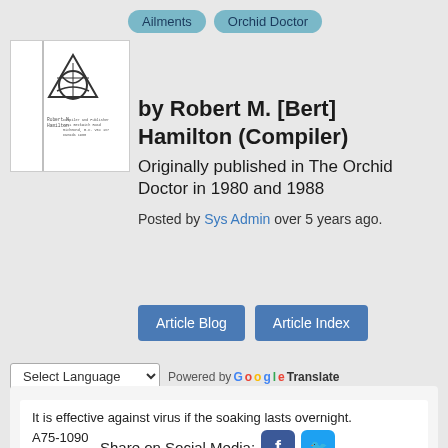Ailments
Orchid Doctor
[Figure (illustration): Book cover for The Orchid Doctor compiled by Robert M. Hamilton, showing a triangular orchid logo and publication details.]
by Robert M. [Bert] Hamilton (Compiler)
Originally published in The Orchid Doctor in 1980 and 1988
Posted by Sys Admin over 5 years ago.
Article Blog
Article Index
Select Language  Powered by Google Translate
It is effective against virus if the soaking lasts overnight. A75-1090
Share on Social Media: